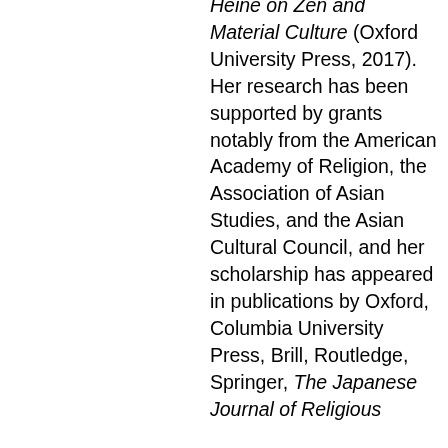Heine on Zen and Material Culture (Oxford University Press, 2017). Her research has been supported by grants notably from the American Academy of Religion, the Association of Asian Studies, and the Asian Cultural Council, and her scholarship has appeared in publications by Oxford, Columbia University Press, Brill, Routledge, Springer, The Japanese Journal of Religious